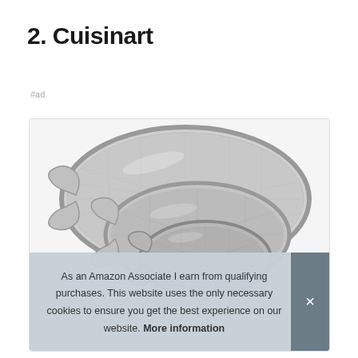2. Cuisinart
#ad
[Figure (photo): Product image of Cuisinart stainless steel mesh strainers/sieves, multiple sizes stacked, with long handles, shown on white background inside a product card with rounded border.]
As an Amazon Associate I earn from qualifying purchases. This website uses the only necessary cookies to ensure you get the best experience on our website. More information